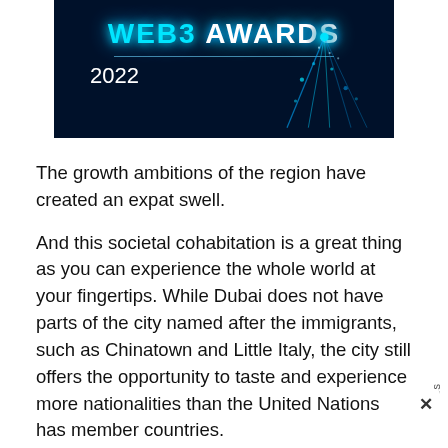[Figure (illustration): Web3 Awards 2022 banner with dark blue background, cyan glowing title text 'WEB3 AWARDS', horizontal divider line, year '2022', and digital particle/light stream graphic on the right side.]
The growth ambitions of the region have created an expat swell.
And this societal cohabitation is a great thing as you can experience the whole world at your fingertips. While Dubai does not have parts of the city named after the immigrants, such as Chinatown and Little Italy, the city still offers the opportunity to taste and experience more nationalities than the United Nations has member countries.